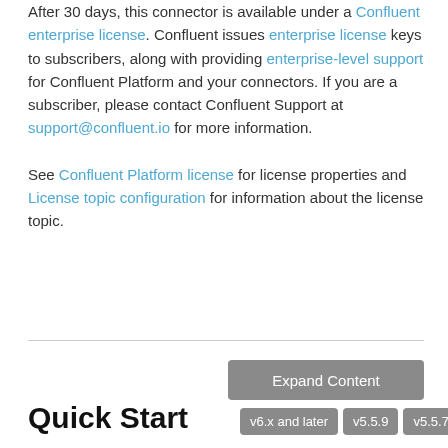After 30 days, this connector is available under a Confluent enterprise license. Confluent issues enterprise license keys to subscribers, along with providing enterprise-level support for Confluent Platform and your connectors. If you are a subscriber, please contact Confluent Support at support@confluent.io for more information.

See Confluent Platform license for license properties and License topic configuration for information about the license topic.
Expand Content
Quick Start
v6.x and later  v5.5.9  v5.5.7  ...